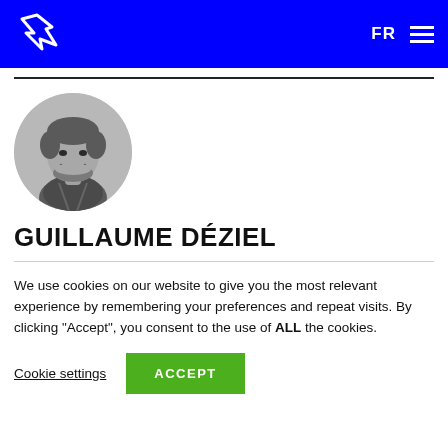FR ☰
[Figure (photo): Circular black and white profile photo of Guillaume Déziel, a young man with curly hair and a beard, smiling, wearing a plaid shirt]
GUILLAUME DÉZIEL
We use cookies on our website to give you the most relevant experience by remembering your preferences and repeat visits. By clicking "Accept", you consent to the use of ALL the cookies.
Cookie settings  ACCEPT